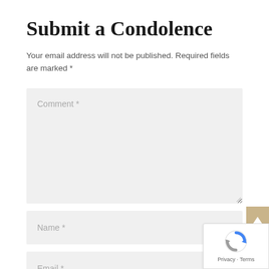Submit a Condolence
Your email address will not be published. Required fields are marked *
[Figure (screenshot): Web form with a large Comment textarea field, a Name input field, and an Email input field, all with light gray background. A tan/gold scroll-to-top button is partially visible at right. A reCAPTCHA badge is partially visible at bottom right with Privacy and Terms links.]